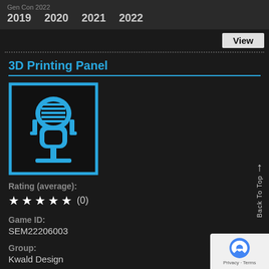Gen Con 2022  2019  2020  2021  2022
View
3D Printing Panel
[Figure (illustration): A cyan/blue retro microphone icon on a black square background with a cyan border]
Rating (average):
★ ★ ★ ★ ★ (0)
Game ID:
SEM22206003
Group:
Kwald Design
Back To Top